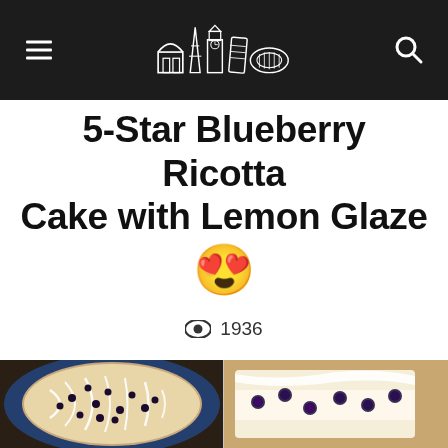Navigation header with hamburger menu, landmark logo, and search icon
5-Star Blueberry Ricotta Cake with Lemon Glaze 😍
👁 1936
[Figure (photo): Two-panel photo of blueberry ricotta cake with white lemon glaze drizzle on blue plate, left panel shows top view, right panel shows slice close-up]